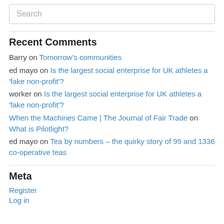Search
Recent Comments
Barry on Tomorrow's communities
ed mayo on Is the largest social enterprise for UK athletes a 'fake non-profit'?
worker on Is the largest social enterprise for UK athletes a 'fake non-profit'?
When the Machines Came | The Journal of Fair Trade on What is Pilotlight?
ed mayo on Tea by numbers – the quirky story of 99 and 1336 co-operative teas
Meta
Register
Log in